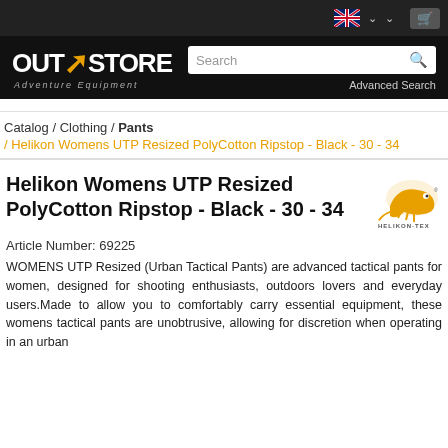[Figure (screenshot): Top navigation bar with UK flag, dropdown arrows, and shopping cart icon]
[Figure (logo): OutStore Adventure Equipment logo with search bar and Advanced Search link]
Catalog / Clothing / Pants
/ Helikon Womens UTP Resized PolyCotton Ripstop - Black - 30 - 34
Helikon Womens UTP Resized PolyCotton Ripstop - Black - 30 - 34
[Figure (logo): Helikon-Tex brand logo (chameleon)]
Article Number: 69225
WOMENS UTP Resized (Urban Tactical Pants) are advanced tactical pants for women, designed for shooting enthusiasts, outdoors lovers and everyday users.Made to allow you to comfortably carry essential equipment, these womens tactical pants are unobtrusive, allowing for discretion when operating in an urban